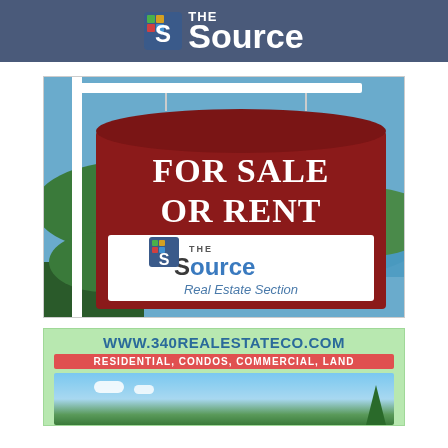THE Source
[Figure (photo): A real estate sign reading FOR SALE OR RENT with The Source Real Estate Section branding, set against a tropical landscape with blue water and green hills in the background.]
[Figure (infographic): Advertisement for www.340realestateco.com featuring a scenic sky and landscape background with text RESIDENTIAL, CONDOS, COMMERCIAL, LAND on a light green background.]